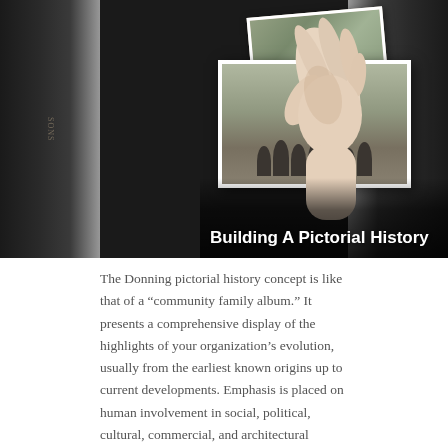[Figure (photo): A hand holding vintage black-and-white photographs against a dark blurry background of book spines. The photos show a group of people seated outdoors. Title text 'Building A Pictorial History' overlaid in bold white on a dark semi-transparent band at the bottom of the image.]
Building A Pictorial History
The Donning pictorial history concept is like that of a “community family album.” It presents a comprehensive display of the highlights of your organization’s evolution, usually from the earliest known origins up to current developments. Emphasis is placed on human involvement in social, political, cultural, commercial, and architectural